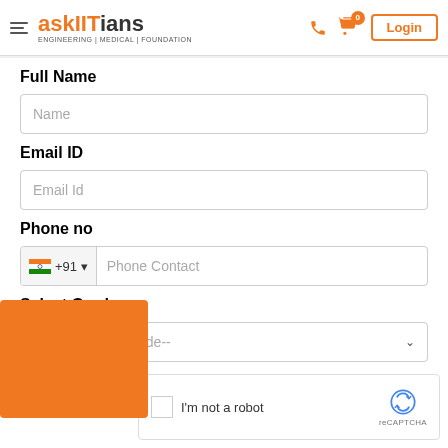askIITians - ENGINEERING | MEDICAL | FOUNDATION - Login
Full Name
Name
Email ID
Email Id
Phone no
+91 Phone Contact
Select Grade
Please Select Grade--
I'm not a robot
reCAPTCHA